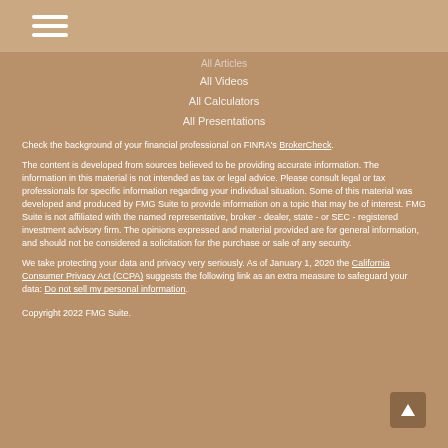Navigation menu icon (hamburger)
All Videos
All Calculators
All Presentations
Check the background of your financial professional on FINRA's BrokerCheck.
The content is developed from sources believed to be providing accurate information. The information in this material is not intended as tax or legal advice. Please consult legal or tax professionals for specific information regarding your individual situation. Some of this material was developed and produced by FMG Suite to provide information on a topic that may be of interest. FMG Suite is not affiliated with the named representative, broker - dealer, state - or SEC - registered investment advisory firm. The opinions expressed and material provided are for general information, and should not be considered a solicitation for the purchase or sale of any security.
We take protecting your data and privacy very seriously. As of January 1, 2020 the California Consumer Privacy Act (CCPA) suggests the following link as an extra measure to safeguard your data: Do not sell my personal information.
Copyright 2022 FMG Suite.